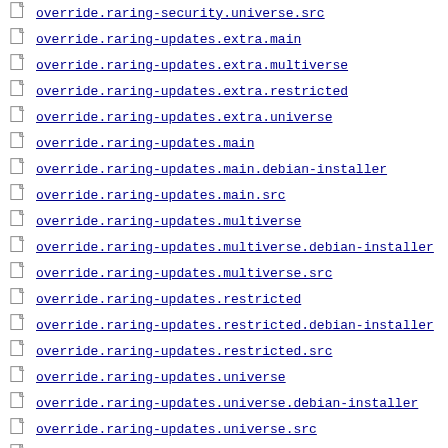override.raring-security.universe.src
override.raring-updates.extra.main
override.raring-updates.extra.multiverse
override.raring-updates.extra.restricted
override.raring-updates.extra.universe
override.raring-updates.main
override.raring-updates.main.debian-installer
override.raring-updates.main.src
override.raring-updates.multiverse
override.raring-updates.multiverse.debian-installer
override.raring-updates.multiverse.src
override.raring-updates.restricted
override.raring-updates.restricted.debian-installer
override.raring-updates.restricted.src
override.raring-updates.universe
override.raring-updates.universe.debian-installer
override.raring-updates.universe.src
override.raring.extra.main
(partial)